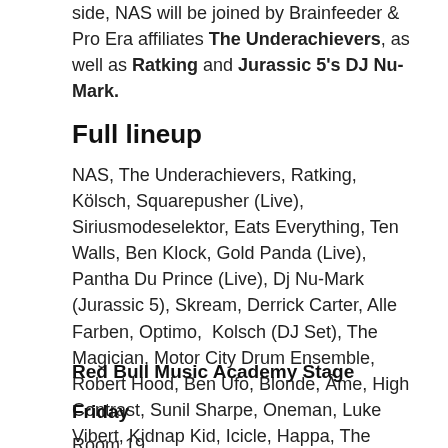side, NAS will be joined by Brainfeeder & Pro Era affiliates The Underachievers, as well as Ratking and Jurassic 5's DJ Nu-Mark.
Full lineup
NAS, The Underachievers, Ratking, Kölsch, Squarepusher (Live), Siriusmodeselektor, Eats Everything, Ten Walls, Ben Klock, Gold Panda (Live), Pantha Du Prince (Live), Dj Nu-Mark (Jurassic 5), Skream, Derrick Carter, Alle Farben, Optimo, Kolsch (DJ Set), The Magician, Motor City Drum Ensemble, Robert Hood, Ben Ufo, Blonde, Âme, High Contrast, Sunil Sharpe, Oneman, Luke Vibert, Kidnap Kid, Icicle, Happa, The Heatwave, Jasper James, RØDHÅD
Red Bull Music Academy Stage
Friday
Room 19